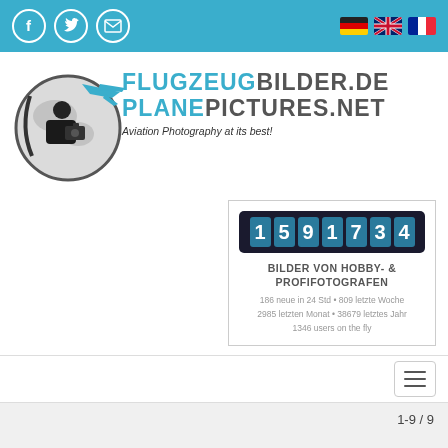Flugzeugbilder.de / PlanePictures.net — Navigation bar with social icons and language flags
[Figure (logo): Flugzeugbilder.de / PlanePictures.net logo with globe, silhouette photographer, airplane, and teal text]
BILDER VON HOBBY- & PROFIFOTOGRAFEN
186 neue in 24 Std • 809 letzte Woche
2985 letzten Monat • 38679 letztes Jahr
1346 users on the fly
1-9 / 9